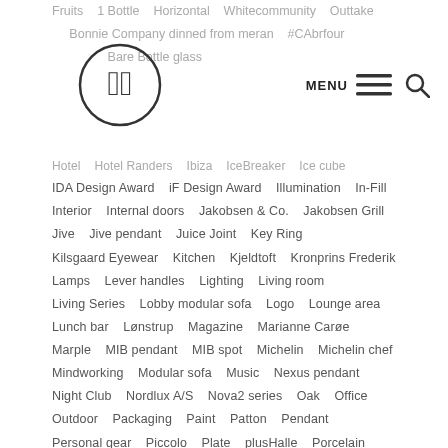Website navigation tag cloud screenshot
[Figure (logo): Circular logo with stylized 'hb' letters in a cursive script, enclosed in a circle]
MENU (hamburger icon) (search icon)
IDA Design Award    iF Design Award    Illumination    In-Fill    Interior    Internal doors    Jakobsen & Co.    Jakobsen Grill    Jive    Jive pendant    Juice Joint    Key Ring    Kilsgaard Eyewear    Kitchen    Kjeldtoft    Kronprins Frederik    Lamps    Lever handles    Lighting    Living room    Living Series    Lobby modular sofa    Logo    Lounge area    Lunch bar    Lønstrup    Magazine    Marianne Carøe    Marple    MIB pendant    MIB spot    Michelin    Michelin chef    Mindworking    Modular sofa    Music    Nexus pendant    Night Club    Nordlux A/S    Nova2 series    Oak    Office    Outdoor    Packaging    Paint    Patton    Pendant    Personal gear    Piccolo    Plate    plusHalle    Porcelain    Poster    Powder coated    Prince    Prince Henrik    Prins Henrik    Private home    Product book    Product design    Quadra series    QuMei    Randers    Reception area    Red Dot Design Award    Restaurant    Risskov    Ronny Emborg    Royal    Rømer    Scanamenities    Scandic Hotel Aarhus    Sitem    Scandinavian Amenities A/S